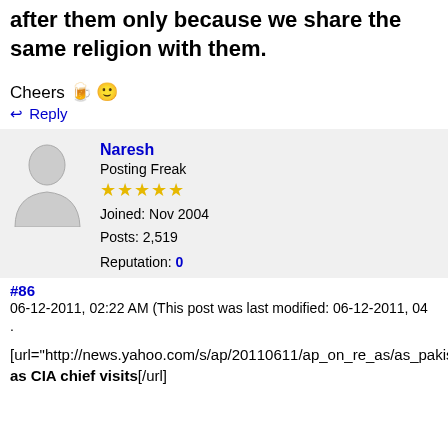after them only because we share the same religion with them.
Cheers 🍺 😊
↩ Reply
Naresh
Posting Freak
★★★★★
Joined: Nov 2004
Posts: 2,519
Reputation: 0
#86
06-12-2011, 02:22 AM (This post was last modified: 06-12-2011, 04
.
[url="http://news.yahoo.com/s/ap/20110611/ap_on_re_as/as_pakista as CIA chief visits[/url]